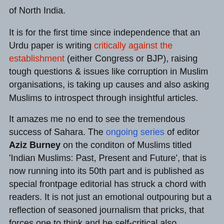of North India.
It is for the first time since independence that an Urdu paper is writing critically against the establishment (either Congress or BJP), raising tough questions & issues like corruption in Muslim organisations, is taking up causes and also asking Muslims to introspect through insightful articles.
It amazes me no end to see the tremendous success of Sahara. The ongoing series of editor Aziz Burney on the conditon of Muslims titled 'Indian Muslims: Past, Present and Future', that is now running into its 50th part and is published as special frontpage editorial has struck a chord with readers. It is not just an emotional outpouring but a reflection of seasoned journalism that pricks, that forces one to think and be self-critical also. Further, often the paper publishes important stories in devnagari (Hindi) script on the same page and accompanied by English translation, that is also a unique idea. Though rivals, the subsequent birth of quality papers like Hindustan Express (Daily), Aag, Sahafat and others have led to a renaissance of Urdu journalism. The questions that make